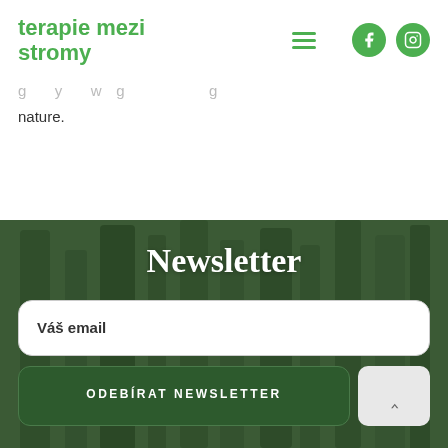terapie mezi stromy
nature.
Newsletter
Váš email
ODEBÍRAT NEWSLETTER